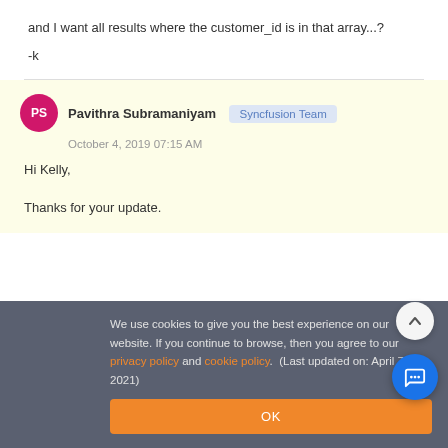and I want all results where the customer_id is in that array...?
-k
Pavithra Subramaniyam · Syncfusion Team · October 4, 2019 07:15 AM
Hi Kelly,
Thanks for your update.
We use cookies to give you the best experience on our website. If you continue to browse, then you agree to our privacy policy and cookie policy.  (Last updated on: April 7, 2021)